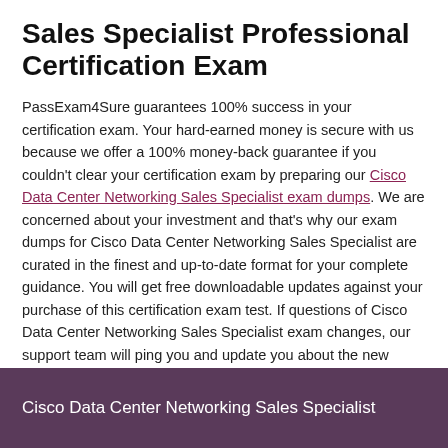Sales Specialist Professional Certification Exam
PassExam4Sure guarantees 100% success in your certification exam. Your hard-earned money is secure with us because we offer a 100% money-back guarantee if you couldn't clear your certification exam by preparing our Cisco Data Center Networking Sales Specialist exam dumps. We are concerned about your investment and that's why our exam dumps for Cisco Data Center Networking Sales Specialist are curated in the finest and up-to-date format for your complete guidance. You will get free downloadable updates against your purchase of this certification exam test. If questions of Cisco Data Center Networking Sales Specialist exam changes, our support team will ping you and update you about the new course content.
Cisco Data Center Networking Sales Specialist